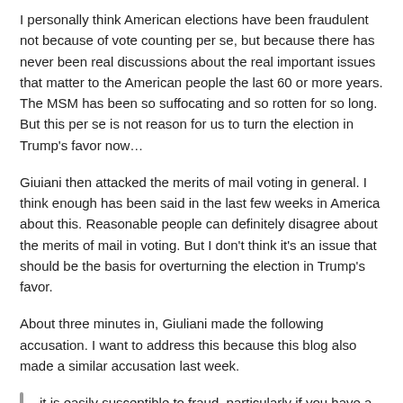I personally think American elections have been fraudulent not because of vote counting per se, but because there has never been real discussions about the real important issues that matter to the American people the last 60 or more years. The MSM has been so suffocating and so rotten for so long. But this per se is not reason for us to turn the election in Trump's favor now…
Giuiani then attacked the merits of mail voting in general. I think enough has been said in the last few weeks in America about this. Reasonable people can definitely disagree about the merits of mail in voting. But I don't think it's an issue that should be the basis for overturning the election in Trump's favor.
About three minutes in, Giuliani made the following accusation. I want to address this because this blog also made a similar accusation last week.
it is easily susceptible to fraud, particularly if you have a plan or scheme, which sounds eerily similar to what Joe Biden told us a few days before the election, that he had the best voter fraud team in the world. But they were